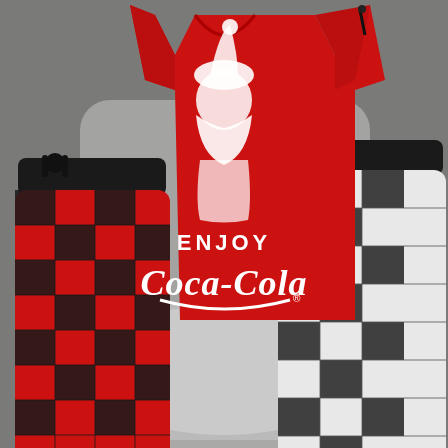[Figure (photo): A flat-lay photograph on a gray textured carpet/blanket background showing three clothing items: in the center, a red short-sleeve t-shirt featuring a vintage Santa Claus graphic with white text reading 'ENJOY Coca-Cola'; on the left, a pair of red and black buffalo plaid pajama pants with a black drawstring waistband; on the right, a pair of black and white buffalo plaid pajama pants with a black waistband.]